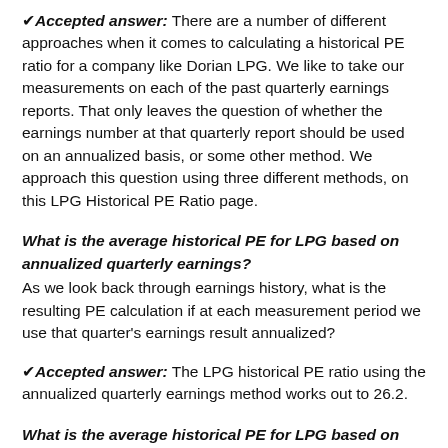✔Accepted answer: There are a number of different approaches when it comes to calculating a historical PE ratio for a company like Dorian LPG. We like to take our measurements on each of the past quarterly earnings reports. That only leaves the question of whether the earnings number at that quarterly report should be used on an annualized basis, or some other method. We approach this question using three different methods, on this LPG Historical PE Ratio page.
What is the average historical PE for LPG based on annualized quarterly earnings?
As we look back through earnings history, what is the resulting PE calculation if at each measurement period we use that quarter's earnings result annualized?
✔Accepted answer: The LPG historical PE ratio using the annualized quarterly earnings method works out to 26.2.
What is the average historical PE for LPG based on